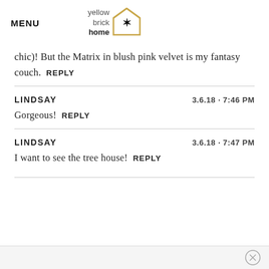MENU | yellow brick home logo
chic)! But the Matrix in blush pink velvet is my fantasy couch. REPLY
LINDSAY 3.6.18 - 7:46 PM
Gorgeous! REPLY
LINDSAY 3.6.18 - 7:47 PM
I want to see the tree house! REPLY